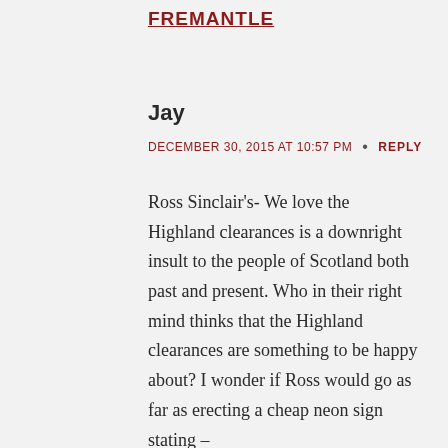FREMANTLE
Jay
DECEMBER 30, 2015 AT 10:57 PM  •  REPLY
Ross Sinclair's- We love the Highland clearances is a downright insult to the people of Scotland both past and present. Who in their right mind thinks that the Highland clearances are something to be happy about? I wonder if Ross would go as far as erecting a cheap neon sign stating –